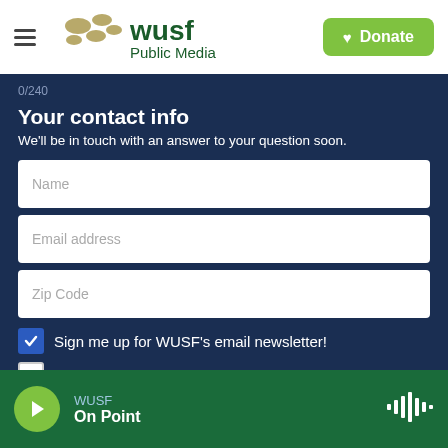WUSF Public Media | Donate
0/240
Your contact info
We'll be in touch with an answer to your question soon.
Name
Email address
Zip Code
Sign me up for WUSF's email newsletter!
Please don't publish my name
I am over 16 years old
I accept the Terms of Service
WUSF | On Point